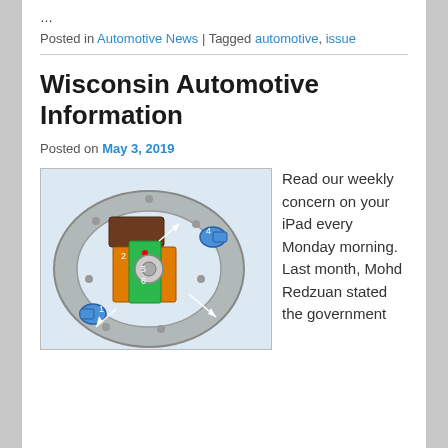…
Posted in Automotive News | Tagged automotive, issue
Wisconsin Automotive Information
Posted on May 3, 2019
[Figure (engineering-diagram): 3D cross-section diagram of an automotive brake disc and caliper assembly, with numbered components (1-6) and arrows indicating parts.]
Read our weekly concern on your iPad every Monday morning. Last month, Mohd Redzuan stated the government